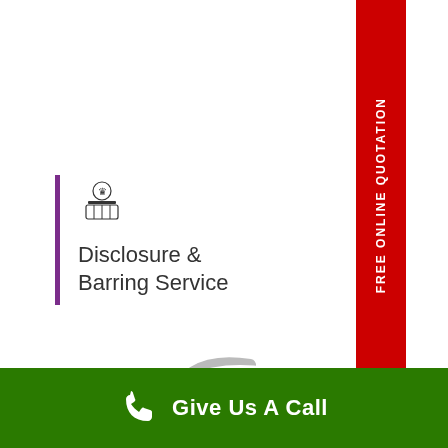[Figure (logo): Disclosure & Barring Service logo with purple bar and crown emblem]
[Figure (logo): FPA Fire Protection Association logo with orange and grey oval swirl and FPA text]
FREE ONLINE QUOTATION
Give Us A Call